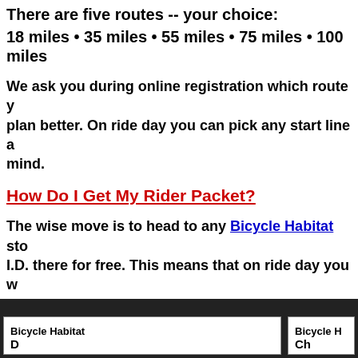There are five routes -- your choice:
18 miles • 35 miles • 55 miles • 75 miles • 100 miles
We ask you during online registration which route y... plan better. On ride day you can pick any start line a... mind.
How Do I Get My Rider Packet?
The wise move is to head to any Bicycle Habitat sto... I.D. there for free. This means that on ride day you w... your backet at Bicycle Habitat is at noon on Thursd...
Bicycle Habitat
Bicycle H